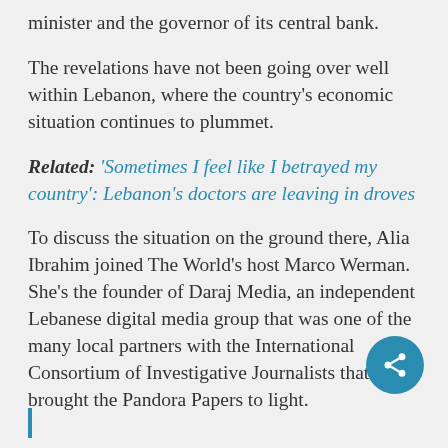minister and the governor of its central bank.
The revelations have not been going over well within Lebanon, where the country's economic situation continues to plummet.
Related: 'Sometimes I feel like I betrayed my country': Lebanon's doctors are leaving in droves
To discuss the situation on the ground there, Alia Ibrahim joined The World's host Marco Werman. She's the founder of Daraj Media, an independent Lebanese digital media group that was one of the many local partners with the International Consortium of Investigative Journalists that brought the Pandora Papers to light.